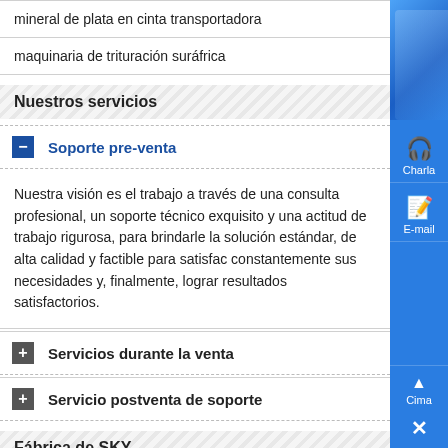mineral de plata en cinta transportadora
maquinaria de trituración suráfrica
Nuestros servicios
Soporte pre-venta
Nuestra visión es el trabajo a través de una consulta profesional, un soporte técnico exquisito y una actitud de trabajo rigurosa, para brindarle la solución estándar, de alta calidad y factible para satisfacer constantemente sus necesidades y, finalmente, lograr resultados satisfactorios.
Servicios durante la venta
Servicio postventa de soporte
Fábrica de SKY
La oficina central de SKY está en Shanghai, la compañía del centro financiero internacional: